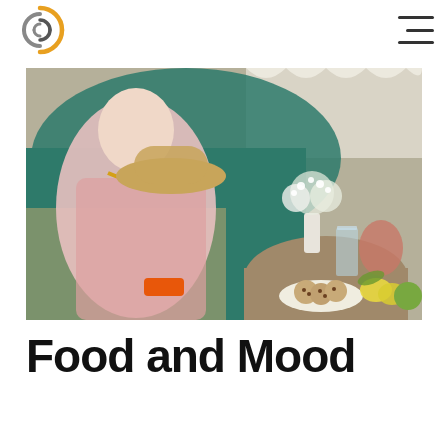[Logo] [Hamburger menu]
[Figure (photo): A woman in a pink floral dress with orange sandals and a gold necklace sits in a wicker chair in front of a teal velvet booth. Beside her is a small round table with white wildflowers in a vase, a glass of water, cookies on a plate, lemons, and green apples.]
Food and Mood